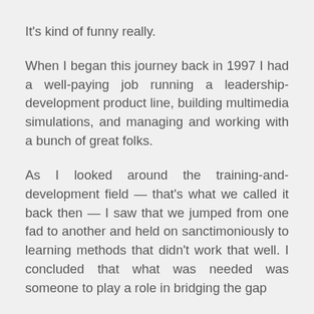It's kind of funny really.
When I began this journey back in 1997 I had a well-paying job running a leadership-development product line, building multimedia simulations, and managing and working with a bunch of great folks.
As I looked around the training-and-development field — that's what we called it back then — I saw that we jumped from one fad to another and held on sanctimoniously to learning methods that didn't work that well. I concluded that what was needed was someone to play a role in bridging the gap